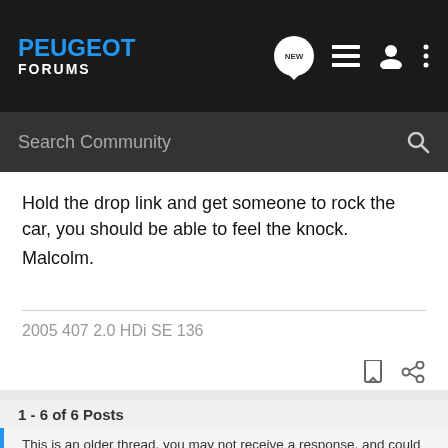PEUGEOT FORUMS
Hold the drop link and get someone to rock the car, you should be able to feel the knock.
Malcolm.
2005 407 2.0 HDi SE 136
1 - 6 of 6 Posts
This is an older thread, you may not receive a response, and could be reviving an old thread. Please consider creating a new thread.